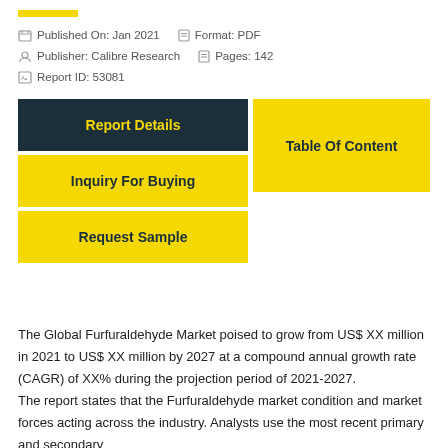Published On: Jan 2021   Format: PDF
Publisher: Calibre Research   Pages: 142
Report ID: 53081
Report Details
Table Of Content
Inquiry For Buying
Request Sample
The Global Furfuraldehyde Market poised to grow from US$ XX million in 2021 to US$ XX million by 2027 at a compound annual growth rate (CAGR) of XX% during the projection period of 2021-2027.
The report states that the Furfuraldehyde market condition and market forces acting across the industry. Analysts use the most recent primary and secondary